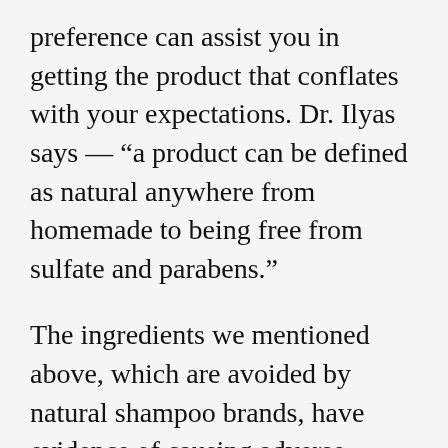preference can assist you in getting the product that conflates with your expectations. Dr. Ilyas says — “a product can be defined as natural anywhere from homemade to being free from sulfate and parabens.”
The ingredients we mentioned above, which are avoided by natural shampoo brands, have evidence of causing adverse health impacts and can trigger allergies. At the same time, it also causes some abnormalities in the endocrine system,